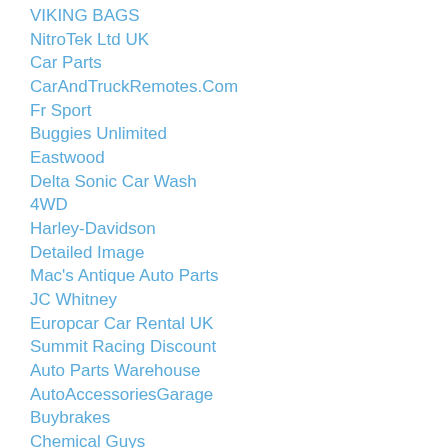VIKING BAGS
NitroTek Ltd UK
Car Parts
CarAndTruckRemotes.Com
Fr Sport
Buggies Unlimited
Eastwood
Delta Sonic Car Wash
4WD
Harley-Davidson
Detailed Image
Mac's Antique Auto Parts
JC Whitney
Europcar Car Rental UK
Summit Racing Discount
Auto Parts Warehouse
AutoAccessoriesGarage
Buybrakes
Chemical Guys
Discount Tire
USP Motorsports